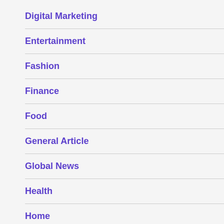Digital Marketing
Entertainment
Fashion
Finance
Food
General Article
Global News
Health
Home